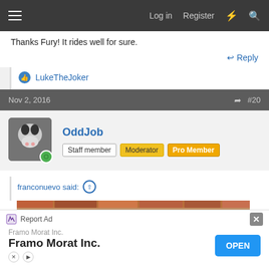Log in  Register
Thanks Fury! It rides well for sure.
Reply
LukeTheJoker
Nov 2, 2016  #20
OddJob
Staff member  Moderator  Pro Member
franconuevo said:
[Figure (photo): A brick wall with what appears to be a microphone or antenna visible]
Report Ad  Framo Morat Inc.  Framo Morat Inc.  OPEN